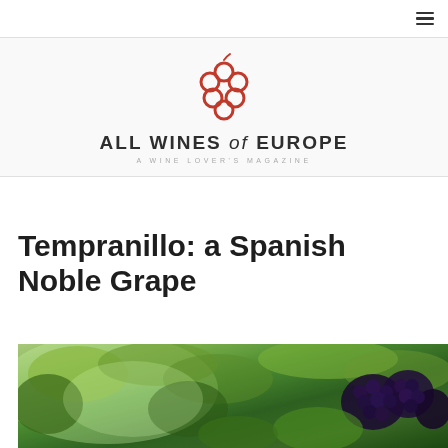[Figure (logo): All Wines of Europe logo — red grape cluster icon above the text 'ALL WINES of EUROPE' with tagline 'A WINE LOVER'S MAGAZINE']
Tempranillo: a Spanish Noble Grape
[Figure (photo): Close-up photo of dark purple/blue grape clusters hanging on a vine with green leaves in the background]